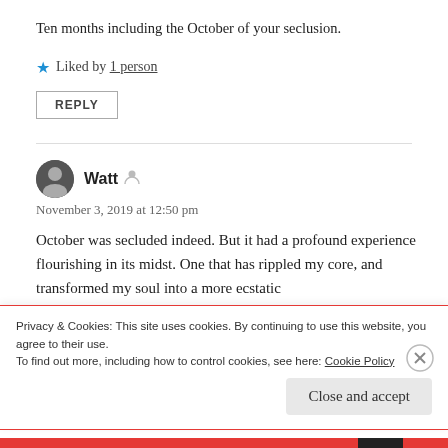Ten months including the October of your seclusion.
★ Liked by 1 person
REPLY
Watt
November 3, 2019 at 12:50 pm
October was secluded indeed. But it had a profound experience flourishing in its midst. One that has rippled my core, and transformed my soul into a more ecstatic
Privacy & Cookies: This site uses cookies. By continuing to use this website, you agree to their use. To find out more, including how to control cookies, see here: Cookie Policy
Close and accept